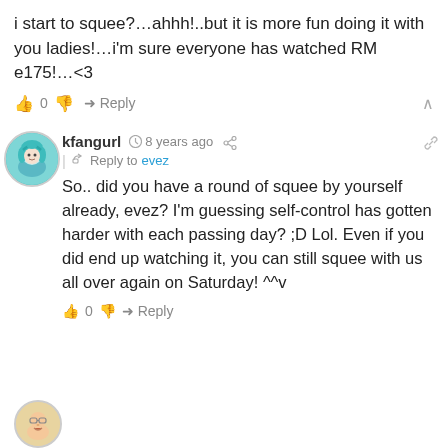i start to squee?…ahhh!..but it is more fun doing it with you ladies!…i'm sure everyone has watched RM e175!…<3
👍 0 👎 → Reply ∧
[Figure (illustration): Avatar of kfangurl: anime girl with teal hair, circular profile picture]
kfangurl  8 years ago  Reply to evez
So.. did you have a round of squee by yourself already, evez? I'm guessing self-control has gotten harder with each passing day? ;D Lol. Even if you did end up watching it, you can still squee with us all over again on Saturday! ^^v
👍 0 👎 → Reply
[Figure (illustration): Avatar of another user: cartoon face with glasses, circular profile picture]